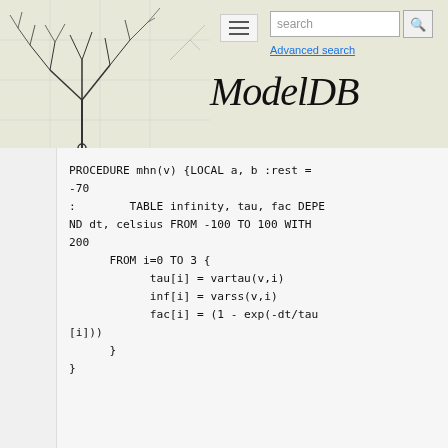ModelDB — search bar and navigation header
PROCEDURE mhn(v) {LOCAL a, b :rest =
-70
:
       TABLE infinity, tau, fac DEPEND dt, celsius FROM -100 TO 100 WITH 200
        FROM i=0 TO 3 {
              tau[i] = vartau(v,i)
              inf[i] = varss(v,i)
              fac[i] = (1 - exp(-dt/tau[i]))
        }
}